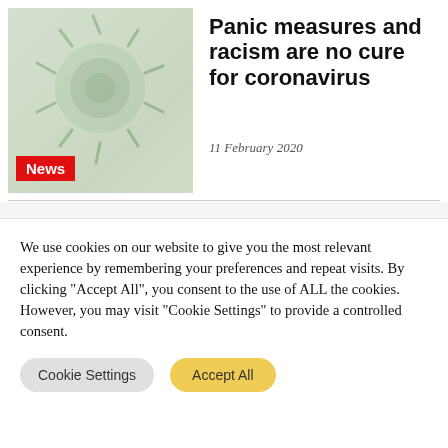[Figure (photo): Close-up photograph of coronavirus particle or similar biological subject, shown in muted green/grey tones]
Panic measures and racism are no cure for coronavirus
News
11 February 2020
We use cookies on our website to give you the most relevant experience by remembering your preferences and repeat visits. By clicking "Accept All", you consent to the use of ALL the cookies. However, you may visit "Cookie Settings" to provide a controlled consent.